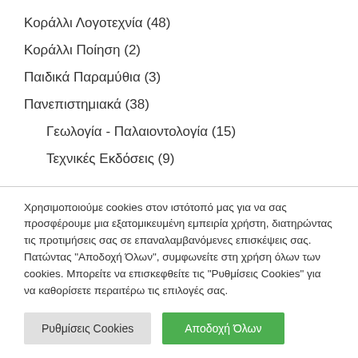Κοράλλι Λογοτεχνία (48)
Κοράλλι Ποίηση (2)
Παιδικά Παραμύθια (3)
Πανεπιστημιακά (38)
Γεωλογία - Παλαιοντολογία (15)
Τεχνικές Εκδόσεις (9)
Χρησιμοποιούμε cookies στον ιστότοπό μας για να σας προσφέρουμε μια εξατομικευμένη εμπειρία χρήστη, διατηρώντας τις προτιμήσεις σας σε επαναλαμβανόμενες επισκέψεις σας. Πατώντας "Αποδοχή Όλων", συμφωνείτε στη χρήση όλων των cookies. Μπορείτε να επισκεφθείτε τις "Ρυθμίσεις Cookies" για να καθορίσετε περαιτέρω τις επιλογές σας.
Ρυθμίσεις Cookies | Αποδοχή Όλων